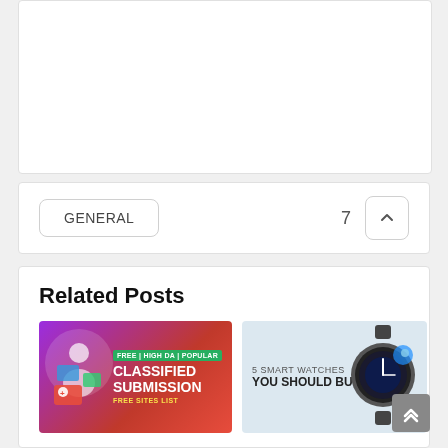[Figure (other): Empty white card area at the top of the page]
GENERAL   7   ∧
Related Posts
[Figure (infographic): Classified Submission Free Sites List banner with purple-red gradient background, white circle graphic with person and documents, text: FREE | HIGH DA | POPULAR, CLASSIFIED SUBMISSION, FREE SITES LIST]
[Figure (infographic): 5 Smart Watches You Should Buy thumbnail with light blue background and a smartwatch image on the right]